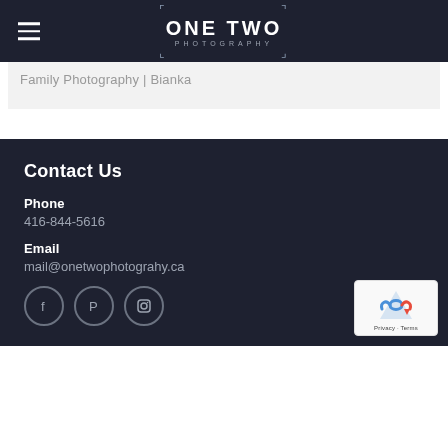ONE TWO PHOTOGRAPHY
Family Photography | Bianka
Contact Us
Phone
416-844-5616
Email
mail@onetwophotograhy.ca
[Figure (other): Social media icons: Facebook, Pinterest, Instagram in circular grey outlines on dark background]